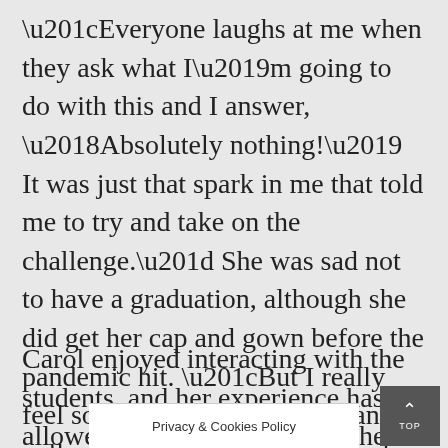“Everyone laughs at me when they ask what I’m going to do with this and I answer, ‘Absolutely nothing!’ It was just that spark in me that told me to try and take on the challenge.” She was sad not to have a graduation, although she did get her cap and gown before the pandemic hit. “But I really feel sorry for the high school and college kids this year. This may be their only opportunity to walk on stage to get their degree.”
Carol enjoyed interacting with the students, and her experience has allowed her to offer advice to her young avenue
Privacy & Cookies Policy